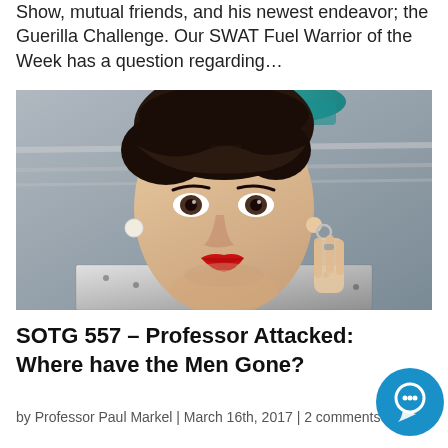Show, mutual friends, and his newest endeavor; the Guerilla Challenge. Our SWAT Fuel Warrior of the Week has a question regarding...
[Figure (photo): Close-up portrait of a young man with dark hair, red lipstick, a teal bandana or hat, pearl and ring earrings, wearing a patterned shirt, holding fingers near his chin.]
SOTG 557 – Professor Attacked: Where have the Men Gone?
by Professor Paul Markel | March 16th, 2017 | 2 comments